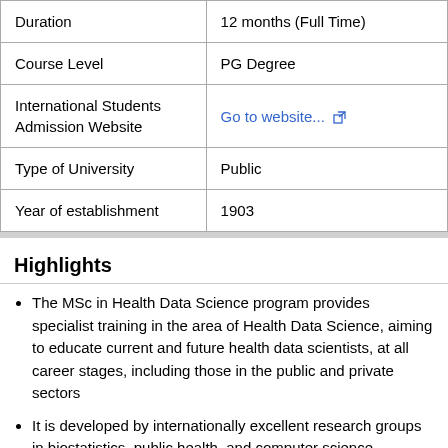| Duration | 12 months (Full Time) |
| Course Level | PG Degree |
| International Students Admission Website | Go to website... |
| Type of University | Public |
| Year of establishment | 1903 |
Highlights
The MSc in Health Data Science program provides specialist training in the area of Health Data Science, aiming to educate current and future health data scientists, at all career stages, including those in the public and private sectors
It is developed by internationally excellent research groups in biostatistics, public health, and computer science, combined with a number of world-leading centres in strategic areas of